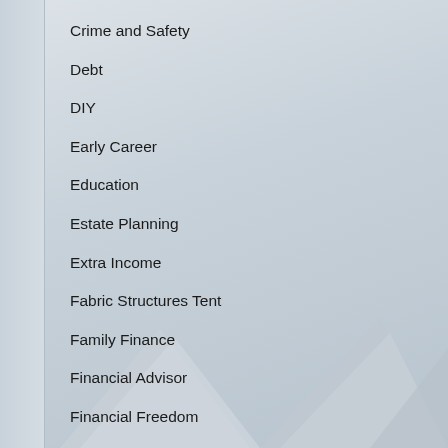Crime and Safety
Debt
DIY
Early Career
Education
Estate Planning
Extra Income
Fabric Structures Tent
Family Finance
Financial Advisor
Financial Freedom
Financial Planning
Find An Accountant